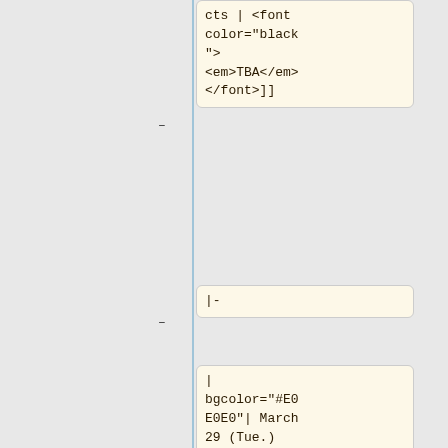cts | <font color="black"> <em>TBA</em> </font>]]
|-
| bgcolor="#E0E0E0"| March 29 (Tue.)
| bgcolor="#F0B0B0"| <br> Rachel Davis
| bgcolor="#BCE2FE"| [[NTS/Abstra cts | <font